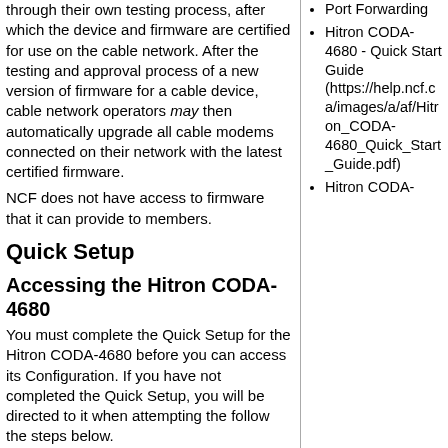through their own testing process, after which the device and firmware are certified for use on the cable network. After the testing and approval process of a new version of firmware for a cable device, cable network operators may then automatically upgrade all cable modems connected on their network with the latest certified firmware.
NCF does not have access to firmware that it can provide to members.
Quick Setup
Accessing the Hitron CODA-4680
You must complete the Quick Setup for the Hitron CODA-4680 before you can access its Configuration. If you have not completed the Quick Setup, you will be directed to it when attempting the follow the steps below.
To access the Hitron CODA-4680 Configuration:
1. Ensure you have successfully completed the
Port Forwarding
Hitron CODA-4680 - Quick Start Guide (https://help.ncf.ca/images/a/af/Hitron_CODA-4680_Quick_Start_Guide.pdf)
Hitron CODA-